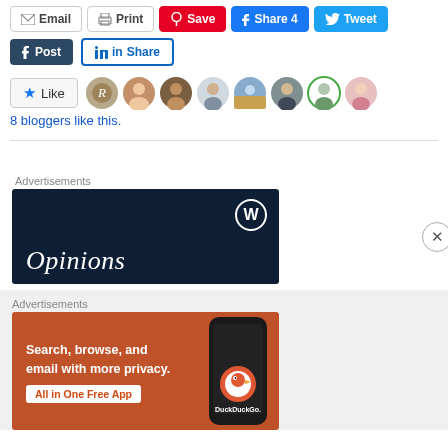[Figure (screenshot): Social sharing buttons row 1: Email, Print, Save (Pinterest, red), Share 4 (Facebook, blue), Tweet (Twitter, light blue)]
[Figure (screenshot): Social sharing buttons row 2: Post (Tumblr, dark), Share (LinkedIn, blue outline)]
[Figure (screenshot): Like button with star icon and 8 blogger avatar thumbnails]
8 bloggers like this.
[Figure (screenshot): Advertisement: WordPress dark navy banner with Opinions text and WordPress logo]
[Figure (screenshot): Advertisement: DuckDuckGo orange banner - Search, browse, and email with more privacy. All in One Free App. With phone graphic and DuckDuckGo logo.]